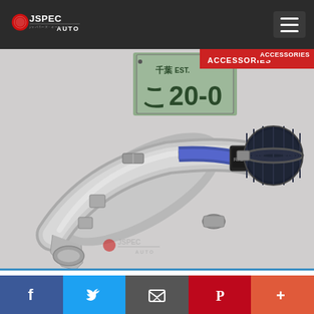JSPEC AUTO
[Figure (photo): Photo of a used Nissan 300ZX OEM intake pipe with aftermarket air filter (RAYS branded sensor block), shown on a white surface with a Japanese license plate (千葉 EST. こ20-0...) visible in the background. A JSPEC Auto watermark logo appears at the bottom of the image.]
93-95 T30 90-96 Nissan 300ZX OEM
Facebook  Twitter  Email  Pinterest  +